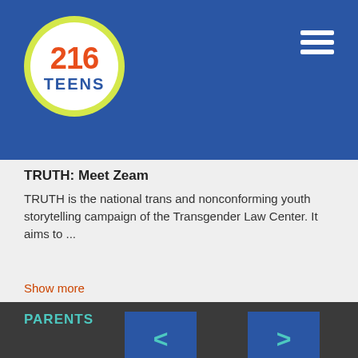[Figure (logo): 216 Teens circular logo with orange 216 text and blue TEENS text on yellow-green circle border, on blue header background]
TRUTH: Meet Zeam
TRUTH is the national trans and nonconforming youth storytelling campaign of the Transgender Law Center. It aims to ...
Show more
[Figure (other): Left navigation arrow button (< symbol in teal on blue background)]
[Figure (other): Right navigation arrow button (> symbol in teal on blue background)]
PARENTS